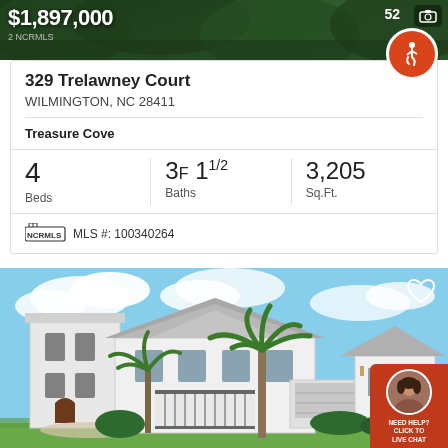[Figure (photo): Aerial/exterior photo backdrop with green trees at the top of the listing card]
$1,897,000
2 NCRMLS
52
329 Trelawney Court
WILMINGTON, NC 28411
Treasure Cove
4 Beds
3F 11/2 Baths
3,205 Sq.Ft.
MLS #: 100340264
[Figure (photo): Exterior photo of a large white luxury home with palm trees, balcony with decorative railings, and blue sky with clouds. Agent live chat badge in the bottom-right corner.]